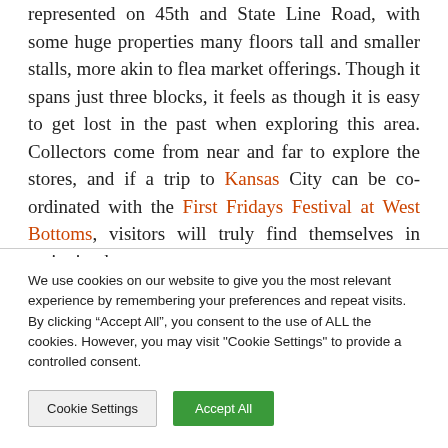represented on 45th and State Line Road, with some huge properties many floors tall and smaller stalls, more akin to flea market offerings. Though it spans just three blocks, it feels as though it is easy to get lost in the past when exploring this area. Collectors come from near and far to explore the stores, and if a trip to Kansas City can be co-ordinated with the First Fridays Festival at West Bottoms, visitors will truly find themselves in antiquing heaven.
We use cookies on our website to give you the most relevant experience by remembering your preferences and repeat visits. By clicking “Accept All”, you consent to the use of ALL the cookies. However, you may visit "Cookie Settings" to provide a controlled consent.